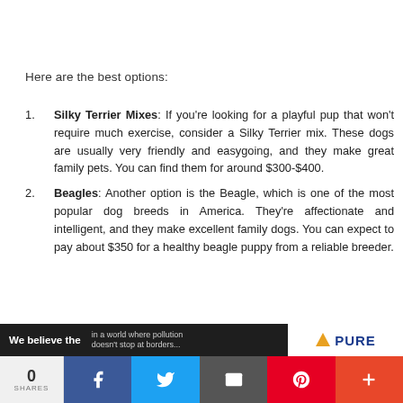Here are the best options:
Silky Terrier Mixes: If you're looking for a playful pup that won't require much exercise, consider a Silky Terrier mix. These dogs are usually very friendly and easygoing, and they make great family pets. You can find them for around $300-$400.
Beagles: Another option is the Beagle, which is one of the most popular dog breeds in America. They're affectionate and intelligent, and they make excellent family dogs. You can expect to pay about $350 for a healthy beagle puppy from a reliable breeder.
[Figure (screenshot): Bottom advertisement banner showing 'We believe the' text and 'in a world where pollution doesn't stop at borders...' with PURE logo]
0 SHARES | Facebook | Twitter | Email | Pinterest | Plus